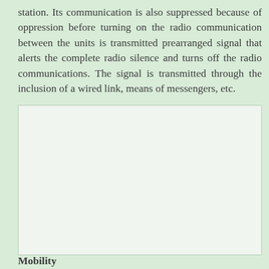station. Its communication is also suppressed because of oppression before turning on the radio communication between the units is transmitted prearranged signal that alerts the complete radio silence and turns off the radio communications. The signal is transmitted through the inclusion of a wired link, means of messengers, etc.
[Figure (other): Empty light-colored box, likely a placeholder for an image or diagram related to radio communications or mobility.]
Mobility